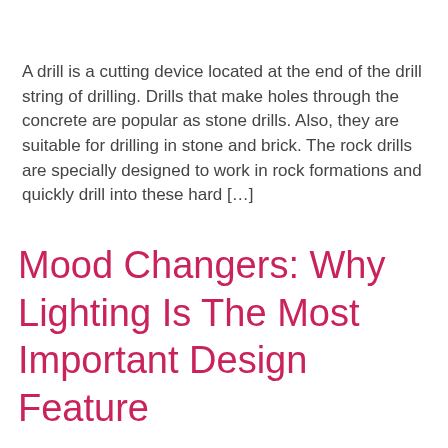A drill is a cutting device located at the end of the drill string of drilling. Drills that make holes through the concrete are popular as stone drills. Also, they are suitable for drilling in stone and brick. The rock drills are specially designed to work in rock formations and quickly drill into these hard […]
Mood Changers: Why Lighting Is The Most Important Design Feature